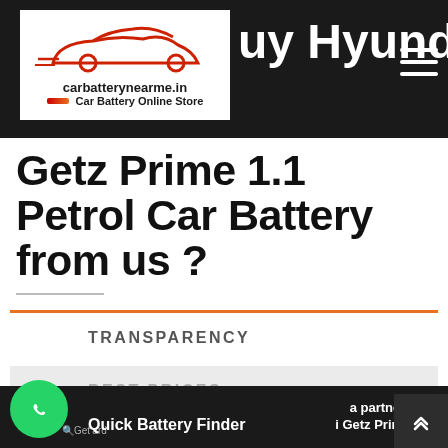carbatterynearme.in - Car Battery Online Store
Buy Hyundai Getz Prime 1.1 Petrol Car Battery from us ?
TRANSPARENCY
BEST PRICES
EXPERT INSTALLATIONS
AFTER SALES SUPPORT
Quick Battery Finder ... a partner and i Getz Prime 1.1